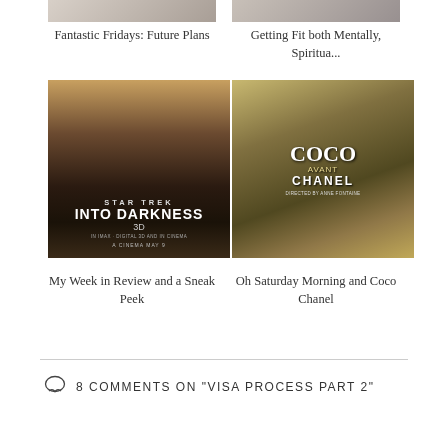[Figure (photo): Thumbnail image for blog post 'Fantastic Fridays: Future Plans']
Fantastic Fridays: Future Plans
[Figure (photo): Thumbnail image for blog post 'Getting Fit both Mentally, Spiritua...']
Getting Fit both Mentally, Spiritua...
[Figure (photo): Movie poster for Star Trek Into Darkness 3D]
My Week in Review and a Sneak Peek
[Figure (photo): Collage image featuring Coco Chanel movie and coffee/laptop]
Oh Saturday Morning and Coco Chanel
8 COMMENTS ON "VISA PROCESS PART 2"